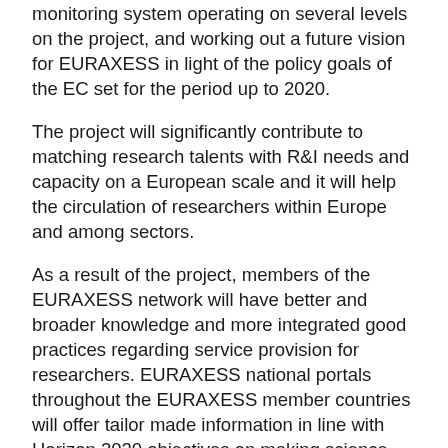monitoring system operating on several levels on the project, and working out a future vision for EURAXESS in light of the policy goals of the EC set for the period up to 2020.
The project will significantly contribute to matching research talents with R&I needs and capacity on a European scale and it will help the circulation of researchers within Europe and among sectors.
As a result of the project, members of the EURAXESS network will have better and broader knowledge and more integrated good practices regarding service provision for researchers. EURAXESS national portals throughout the EURAXESS member countries will offer tailor made information in line with Horizon 2020 objectives on making science careers attractive for researchers, especially young researchers.
3960196.18EUR